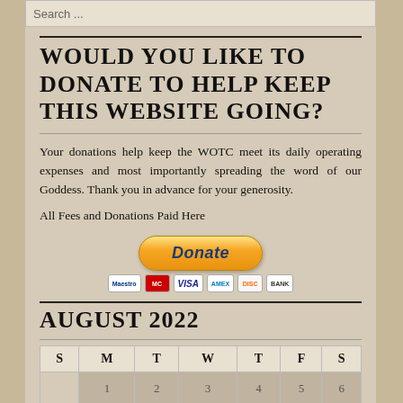Search ...
WOULD YOU LIKE TO DONATE TO HELP KEEP THIS WEBSITE GOING?
Your donations help keep the WOTC meet its daily operating expenses and most importantly spreading the word of our Goddess. Thank you in advance for your generosity.
All Fees and Donations Paid Here
[Figure (other): PayPal Donate button with payment card icons (Maestro, MasterCard, Visa, AmEx, Discover, Bank)]
AUGUST 2022
| S | M | T | W | T | F | S |
| --- | --- | --- | --- | --- | --- | --- |
|  | 1 | 2 | 3 | 4 | 5 | 6 |